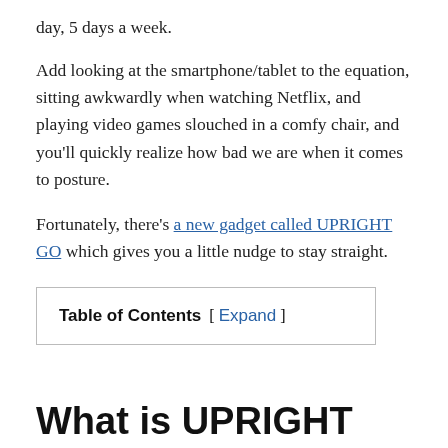day, 5 days a week.
Add looking at the smartphone/tablet to the equation, sitting awkwardly when watching Netflix, and playing video games slouched in a comfy chair, and you'll quickly realize how bad we are when it comes to posture.
Fortunately, there's a new gadget called UPRIGHT GO which gives you a little nudge to stay straight.
| Table of Contents [ Expand ] |
What is UPRIGHT GO?
UPRIGHT GO is a portable device that is placed